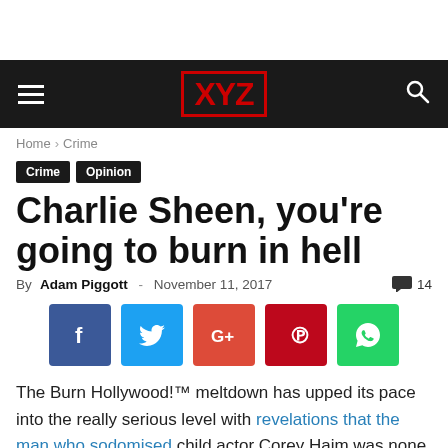[Figure (logo): XYZ website navigation bar with hamburger menu, red XYZ logo on black background, and search icon]
Home › Crime
Crime   Opinion
Charlie Sheen, you're going to burn in hell
By Adam Piggott - November 11, 2017   💬 14
[Figure (infographic): Social sharing buttons: Facebook (blue), Twitter (light blue), Google+ (red-orange), Pinterest (red), WhatsApp (green)]
The Burn Hollywood!™ meltdown has upped its pace into the really serious level with revelations that the man who sodomised child actor Corey Haim was none other than Charlie Sheen. The